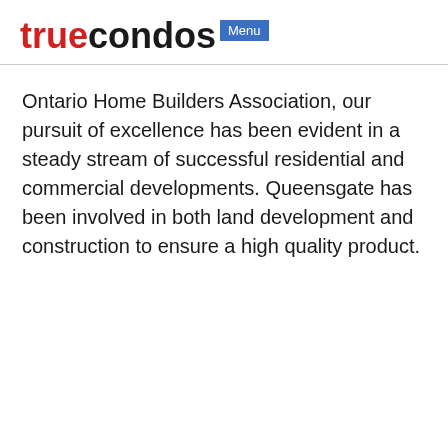truecondos Menu
Ontario Home Builders Association, our pursuit of excellence has been evident in a steady stream of successful residential and commercial developments. Queensgate has been involved in both land development and construction to ensure a high quality product.